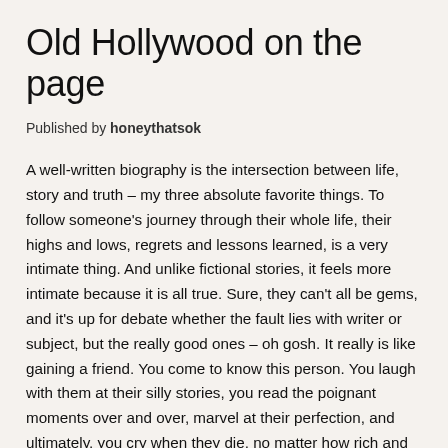Old Hollywood on the page
Published by honeythatsok
A well-written biography is the intersection between life, story and truth – my three absolute favorite things. To follow someone's journey through their whole life, their highs and lows, regrets and lessons learned, is a very intimate thing. And unlike fictional stories, it feels more intimate because it is all true. Sure, they can't all be gems, and it's up for debate whether the fault lies with writer or subject, but the really good ones – oh gosh. It really is like gaining a friend. You come to know this person. You laugh with them at their silly stories, you read the poignant moments over and over, marvel at their perfection, and ultimately, you cry when they die, no matter how rich and wonderful a life. Mainly, because it was so rich and wonderful. In October I went to Hollywood for a few days to hang out